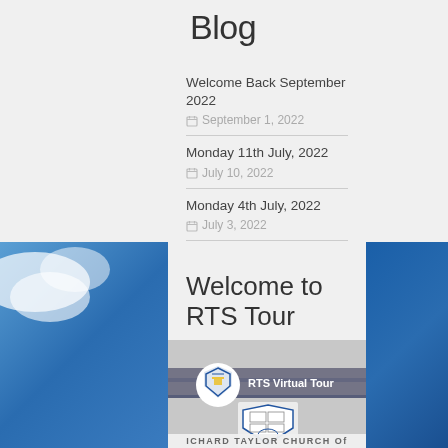Blog
Welcome Back September 2022
September 1, 2022
Monday 11th July, 2022
July 10, 2022
Monday 4th July, 2022
July 3, 2022
Welcome to RTS Tour
[Figure (screenshot): RTS Virtual Tour video thumbnail showing school crest/logo and signage reading RTS Virtual Tour, with school shield/crest below]